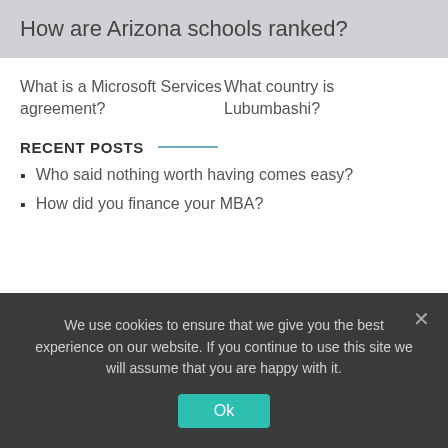How are Arizona schools ranked?
What is a Microsoft Services agreement?
What country is Lubumbashi?
RECENT POSTS
Who said nothing worth having comes easy?
How did you finance your MBA?
We use cookies to ensure that we give you the best experience on our website. If you continue to use this site we will assume that you are happy with it.